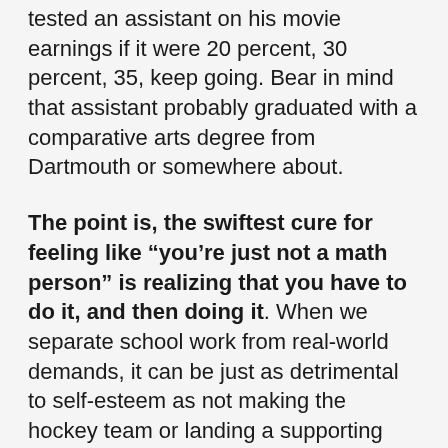tested an assistant on his movie earnings if it were 20 percent, 30 percent, 35, keep going. Bear in mind that assistant probably graduated with a comparative arts degree from Dartmouth or somewhere about.
The point is, the swiftest cure for feeling like “you’re just not a math person” is realizing that you have to do it, and then doing it. When we separate school work from real-world demands, it can be just as detrimental to self-esteem as not making the hockey team or landing a supporting role in the school play. I felt a lot better about myself in